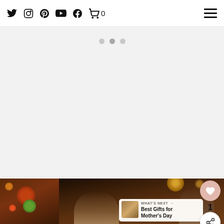Twitter Instagram Pinterest YouTube Facebook Cart 0 Menu
[Figure (screenshot): Carousel placeholder area with three dots (pagination indicators) on a light gray background]
[Figure (photo): Photo of a blonde woman and a young man with dark hair in a dimly lit restaurant setting with warm overhead lights and colorful decorative objects visible on the left]
1
WHAT'S NEXT → Best Gifts for Mother's Day